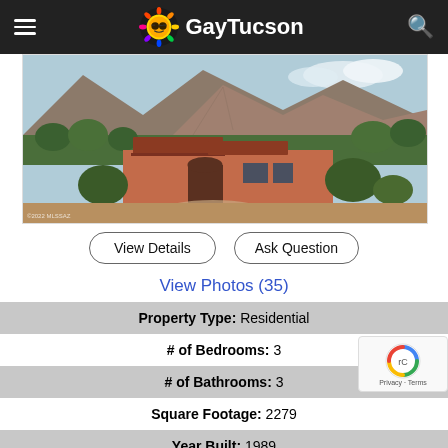GayTucson
[Figure (photo): Aerial view of a Southwestern/Mediterranean-style residential home with terracotta roof tiles, surrounded by desert trees and vegetation, with rocky mountains in the background. Tucson, Arizona area.]
View Details
Ask Question
View Photos (35)
| Property Type: | Residential |
| # of Bedrooms: | 3 |
| # of Bathrooms: | 3 |
| Square Footage: | 2279 |
| Year Built: | 1989 |
| Area: | Northwest |
| Subdivision: | Ram's Hill At La Reserve |